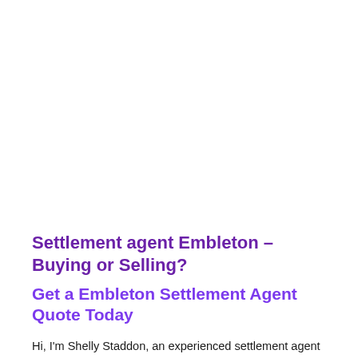Settlement agent Embleton – Buying or Selling?
Get a Embleton Settlement Agent Quote Today
Hi, I'm Shelly Staddon, an experienced settlement agent for all Perth suburbs including Embleton.